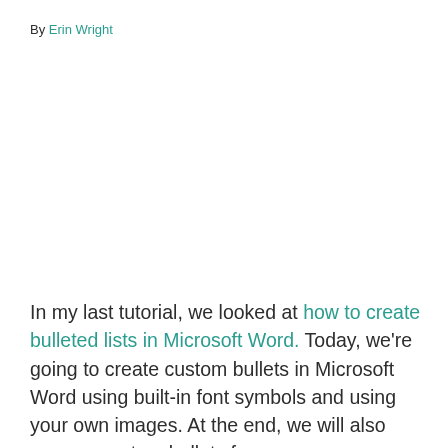By Erin Wright
In my last tutorial, we looked at how to create bulleted lists in Microsoft Word. Today, we're going to create custom bullets in Microsoft Word using built-in font symbols and using your own images. At the end, we will also remove custom bullets from